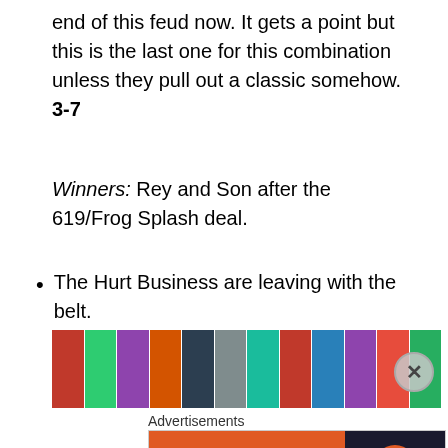end of this feud now. It gets a point but this is the last one for this combination unless they pull out a classic somehow. 3-7
Winners: Rey and Son after the 619/Frog Splash deal.
The Hurt Business are leaving with the belt.
[Figure (photo): A horizontal photo strip collage showing multiple people/fans in a mosaic layout]
Advertisements
[Figure (other): DuckDuckGo advertisement banner: 'Search, browse, and email with more privacy. All in One Free App' with DuckDuckGo logo on dark background]